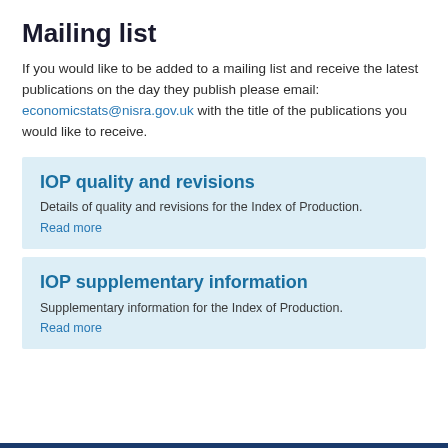Mailing list
If you would like to be added to a mailing list and receive the latest publications on the day they publish please email: economicstats@nisra.gov.uk with the title of the publications you would like to receive.
IOP quality and revisions
Details of quality and revisions for the Index of Production.
Read more
IOP supplementary information
Supplementary information for the Index of Production.
Read more